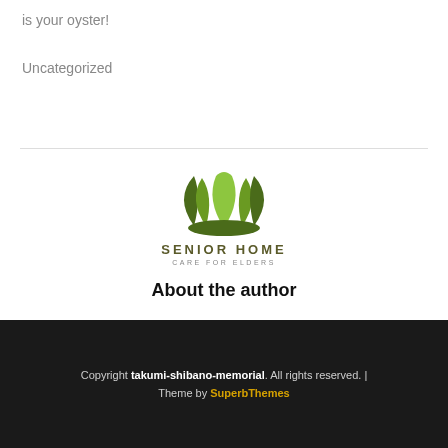is your oyster!
Uncategorized
[Figure (logo): Senior Home Care for Elders logo with green lotus/leaf design above the text SENIOR HOME and tagline CARE FOR ELDERS]
About the author
Copyright takumi-shibano-memorial. All rights reserved. | Theme by SuperbThemes